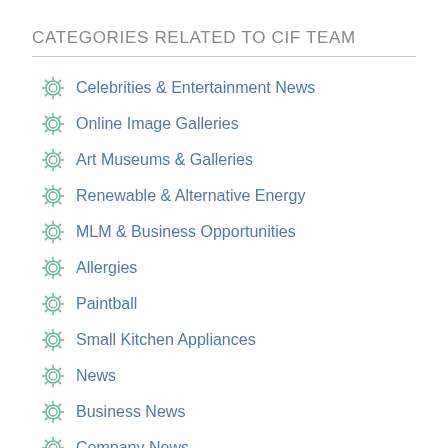CATEGORIES RELATED TO CIF TEAM
Celebrities & Entertainment News
Online Image Galleries
Art Museums & Galleries
Renewable & Alternative Energy
MLM & Business Opportunities
Allergies
Paintball
Small Kitchen Appliances
News
Business News
Company News